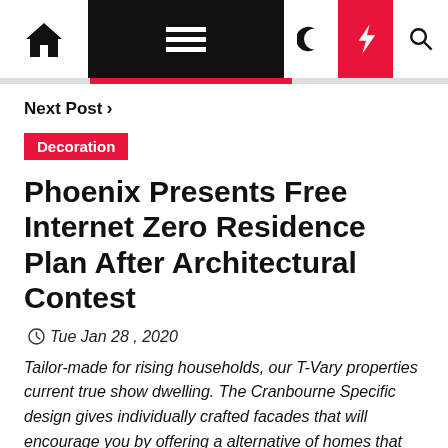Navigation bar with home icon, menu, moon, bolt, and search icons
Next Post >
Decoration
Phoenix Presents Free Internet Zero Residence Plan After Architectural Contest
Tue Jan 28 , 2020
Tailor-made for rising households, our T-Vary properties current true show dwelling. The Cranbourne Specific design gives individually crafted facades that will encourage you by offering a alternative of homes that replicate your private way of life and preferences. Use